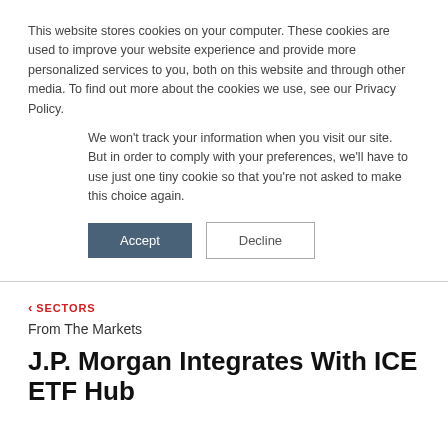This website stores cookies on your computer. These cookies are used to improve your website experience and provide more personalized services to you, both on this website and through other media. To find out more about the cookies we use, see our Privacy Policy.
We won't track your information when you visit our site. But in order to comply with your preferences, we'll have to use just one tiny cookie so that you're not asked to make this choice again.
Accept | Decline
< SECTORS
From The Markets
J.P. Morgan Integrates With ICE ETF Hub